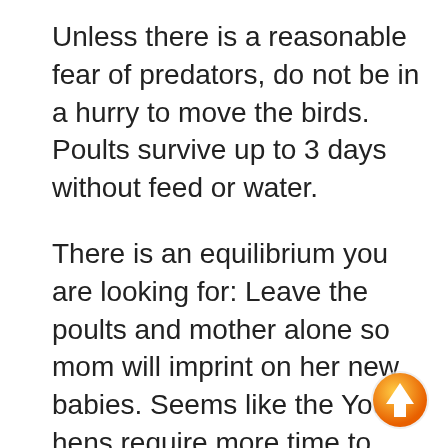Unless there is a reasonable fear of predators, do not be in a hurry to move the birds. Poults survive up to 3 days without feed or water.
There is an equilibrium you are looking for: Leave the poults and mother alone so mom will imprint on her new babies. Seems like the Young hens require more time to become attached to their young. (8-12 hours) Then again if you wait too long you will have a nest of active sprinters.
[Figure (other): Orange circular up-arrow navigation button in bottom-right corner]